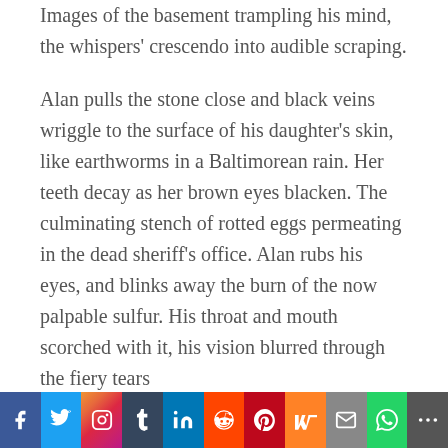Images of the basement trampling his mind, the whispers' crescendo into audible scraping.

Alan pulls the stone close and black veins wriggle to the surface of his daughter's skin, like earthworms in a Baltimorean rain. Her teeth decay as her brown eyes blacken. The culminating stench of rotted eggs permeating in the dead sheriff's office. Alan rubs his eyes, and blinks away the burn of the now palpable sulfur. His throat and mouth scorched with it, his vision blurred through the fiery tears
f | Twitter | Instagram | t | in | Reddit | Pinterest | Mix | Email | WhatsApp | +